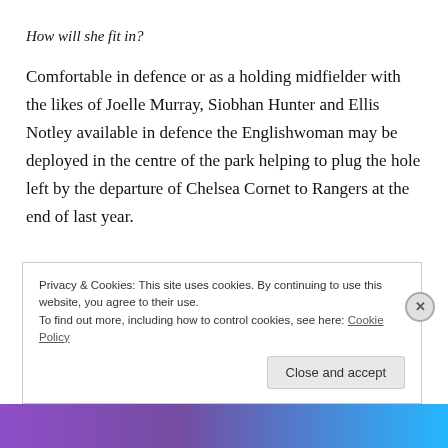How will she fit in?
Comfortable in defence or as a holding midfielder with the likes of Joelle Murray, Siobhan Hunter and Ellis Notley available in defence the Englishwoman may be deployed in the centre of the park helping to plug the hole left by the departure of Chelsea Cornet to Rangers at the end of last year.
Rangers
Privacy & Cookies: This site uses cookies. By continuing to use this website, you agree to their use.
To find out more, including how to control cookies, see here: Cookie Policy
Close and accept